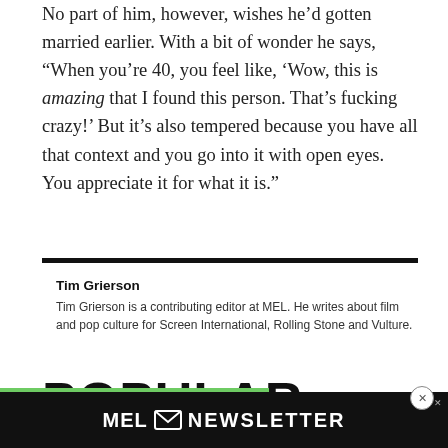No part of him, however, wishes he’d gotten married earlier. With a bit of wonder he says, “When you’re 40, you feel like, ‘Wow, this is amazing that I found this person. That’s fucking crazy!’ But it’s also tempered because you have all that context and you go into it with open eyes. You appreciate it for what it is.”
Tim Grierson
Tim Grierson is a contributing editor at MEL. He writes about film and pop culture for Screen International, Rolling Stone and Vulture.
POPULAR
[Figure (other): MEL Newsletter advertisement bar at the bottom of the page with envelope icon and text 'MEL NEWSLETTER']